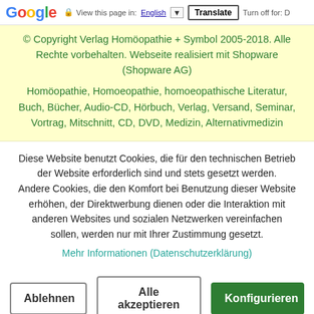Google | View this page in: English | Translate | Turn off for: D
© Copyright Verlag Homöopathie + Symbol 2005-2018. Alle Rechte vorbehalten. Webseite realisiert mit Shopware (Shopware AG)
Homöopathie, Homoeopathie, homoeopathische Literatur, Buch, Bücher, Audio-CD, Hörbuch, Verlag, Versand, Seminar, Vortrag, Mitschnitt, CD, DVD, Medizin, Alternativmedizin
Diese Website benutzt Cookies, die für den technischen Betrieb der Website erforderlich sind und stets gesetzt werden. Andere Cookies, die den Komfort bei Benutzung dieser Website erhöhen, der Direktwerbung dienen oder die Interaktion mit anderen Websites und sozialen Netzwerken vereinfachen sollen, werden nur mit Ihrer Zustimmung gesetzt.
Mehr Informationen (Datenschutzerklärung)
Ablehnen
Alle akzeptieren
Konfigurieren